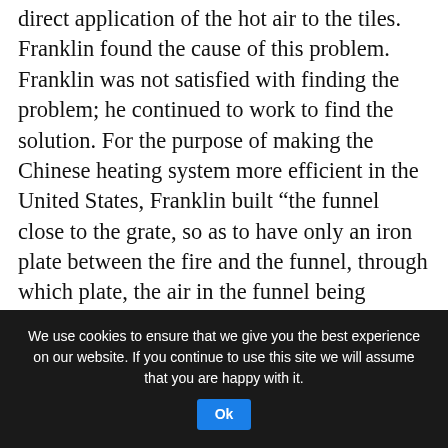direct application of the hot air to the tiles. Franklin found the cause of this problem. Franklin was not satisfied with finding the problem; he continued to work to find the solution. For the purpose of making the Chinese heating system more efficient in the United States, Franklin built “the funnel close to the grate, so as to have only an iron plate between the fire and the funnel, through which plate, the air in the funnel being heated, it will be sure to draw well, and force the smoke to descend.”
On the basis of his assimilation of the Chinese heating technology, Franklin
We use cookies to ensure that we give you the best experience on our website. If you continue to use this site we will assume that you are happy with it. Ok